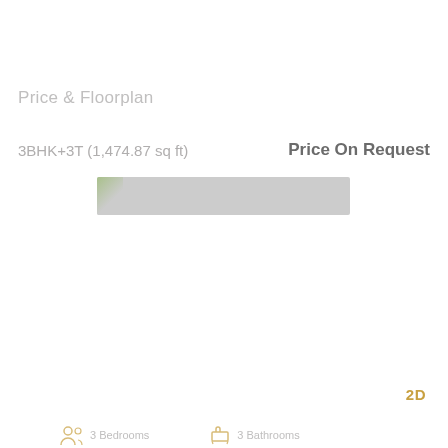Price & Floorplan
3BHK+3T (1,474.87 sq ft)
Price On Request
[Figure (other): Floorplan image placeholder — grey bar with partial leaf/green element on left edge]
2D
3 Bedrooms
3 Bathrooms